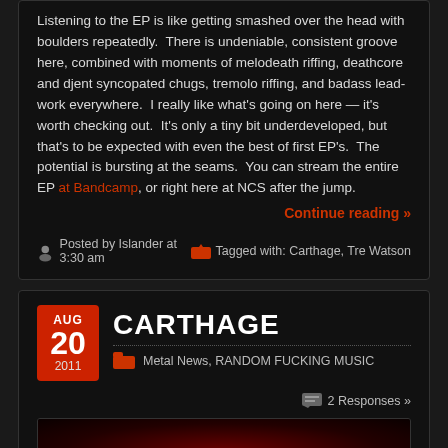Listening to the EP is like getting smashed over the head with boulders repeatedly. There is undeniable, consistent groove here, combined with moments of melodeath riffing, deathcore and djent syncopated chugs, tremolo riffing, and badass lead-work everywhere. I really like what's going on here — it's worth checking out. It's only a tiny bit underdeveloped, but that's to be expected with even the best of first EP's. The potential is bursting at the seams. You can stream the entire EP at Bandcamp, or right here at NCS after the jump.
Continue reading »
Posted by Islander at 3:30 am   Tagged with: Carthage, Tre Watson
CARTHAGE
Metal News, RANDOM FUCKING MUSIC
2 Responses »
[Figure (photo): Dark reddish image, appears to be an album cover or band photo with dark red tones]